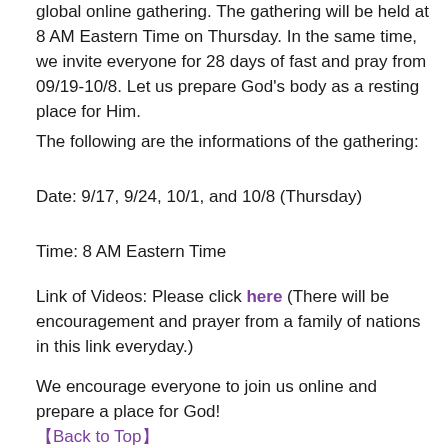global online gathering. The gathering will be held at 8 AM Eastern Time on Thursday. In the same time, we invite everyone for 28 days of fast and pray from 09/19-10/8. Let us prepare God’s body as a resting place for Him.
The following are the informations of the gathering:
Date: 9/17, 9/24, 10/1, and 10/8 (Thursday)
Time: 8 AM Eastern Time
Link of Videos: Please click here (There will be encouragement and prayer from a family of nations in this link everyday.)
We encourage everyone to join us online and prepare a place for God!
【Back to Top】